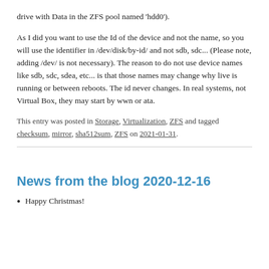drive with Data in the ZFS pool named 'hdd0').
As I did you want to use the Id of the device and not the name, so you will use the identifier in /dev/disk/by-id/ and not sdb, sdc... (Please note, adding /dev/ is not necessary). The reason to do not use device names like sdb, sdc, sdea, etc... is that those names may change why live is running or between reboots. The id never changes. In real systems, not Virtual Box, they may start by wwn or ata.
This entry was posted in Storage, Virtualization, ZFS and tagged checksum, mirror, sha512sum, ZFS on 2021-01-31.
News from the blog 2020-12-16
Happy Christmas!